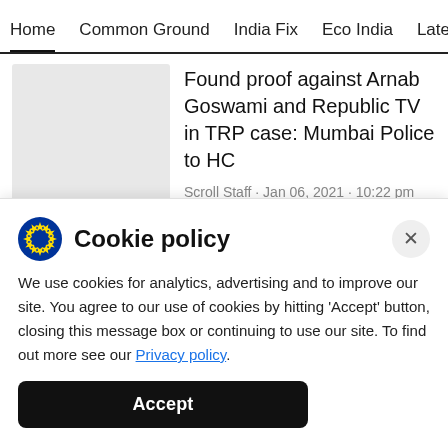Home | Common Ground | India Fix | Eco India | Latest | Th
Found proof against Arnab Goswami and Republic TV in TRP case: Mumbai Police to HC
Scroll Staff · Jan 06, 2021 · 10:22 pm
TRP scam: Court rejects bail plea of
Cookie policy
We use cookies for analytics, advertising and to improve our site. You agree to our use of cookies by hitting 'Accept' button, closing this message box or continuing to use our site. To find out more see our Privacy policy.
Accept